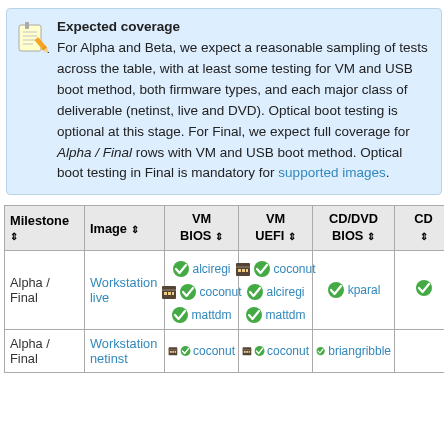Expected coverage
For Alpha and Beta, we expect a reasonable sampling of tests across the table, with at least some testing for VM and USB boot method, both firmware types, and each major class of deliverable (netinst, live and DVD). Optical boot testing is optional at this stage. For Final, we expect full coverage for Alpha / Final rows with VM and USB boot method. Optical boot testing in Final is mandatory for supported images.
| Milestone ⇕ | Image ⇕ | VM BIOS ⇕ | VM UEFI ⇕ | CD/DVD BIOS ⇕ | CD... |
| --- | --- | --- | --- | --- | --- |
| Alpha / Final | Workstation live | ✓ alciregi
🗓✓ coconut
✓ mattdm | 🗓✓ coconut
✓ alciregi
✓ mattdm | ✓ kparal | ✓ |
| Alpha / Final | Workstation netinst | 🗓✓ coconut | 🗓✓ coconut | ✓ briangribble |  |